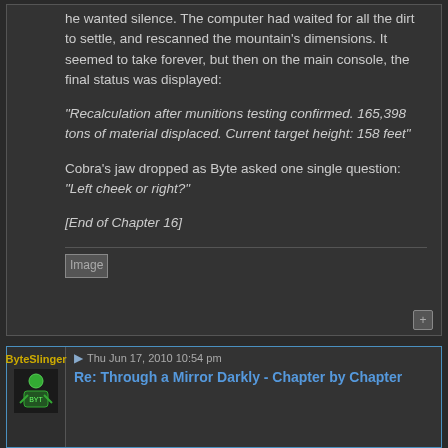he wanted silence. The computer had waited for all the dirt to settle, and rescanned the mountain's dimensions. It seemed to take forever, but then on the main console, the final status was displayed:
“Recalculation after munitions testing confirmed. 165,398 tons of material displaced. Current target height: 158 feet”
Cobra’s jaw dropped as Byte asked one single question: “Left cheek or right?”
[End of Chapter 16]
[Figure (other): Image placeholder (broken image icon)]
ByteSlinger
Re: Through a Mirror Darkly - Chapter by Chapter
Thu Jun 17, 2010 10:54 pm